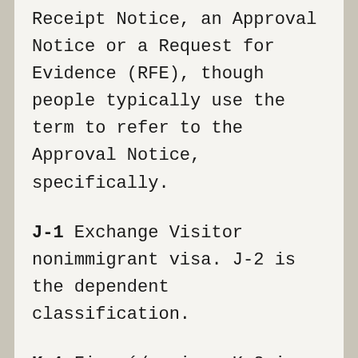Receipt Notice, an Approval Notice or a Request for Evidence (RFE), though people typically use the term to refer to the Approval Notice, specifically.
J-1 Exchange Visitor nonimmigrant visa. J-2 is the dependent classification.
K-1 Fiancé/e visa. K-2 is the dependent classification.
K-3 Nonimmigrant visa permitting the spouse of a U.S. citizen who is the beneficiar[y of a] currently-